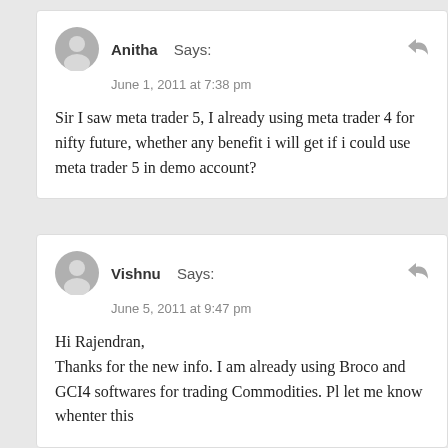Anitha Says:
June 1, 2011 at 7:38 pm

Sir I saw meta trader 5, I already using meta trader 4 for nifty future, whether any benefit i will get if i could use meta trader 5 in demo account?
Vishnu Says:
June 5, 2011 at 9:47 pm

Hi Rajendran,
Thanks for the new info. I am already using Broco and GCI4 softwares for trading Commodities. Pl let me know whenter this